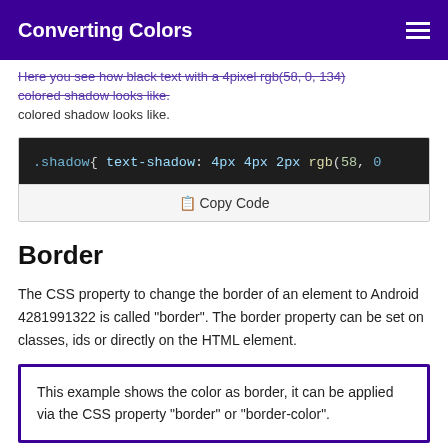Converting Colors
Here you see how black text with a 4pixel rgb(58, 0, 134) colored shadow looks like.
[Figure (screenshot): CSS code block showing: .shadow{ text-shadow: 4px 4px 2px rgb(58, 0...]
Copy Code
Border
The CSS property to change the border of an element to Android 4281991322 is called "border". The border property can be set on classes, ids or directly on the HTML element.
This example shows the color as border, it can be applied via the CSS property "border" or "border-color".